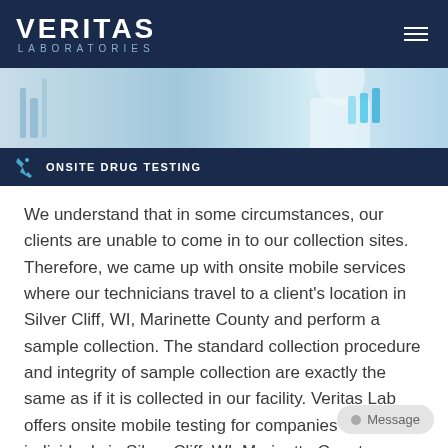VERITAS LABORATORIES
[Figure (photo): Laboratory scene with scientist in white coat holding blue liquid, teal-toned]
ONSITE DRUG TESTING
We understand that in some circumstances, our clients are unable to come in to our collection sites. Therefore, we came up with onsite mobile services where our technicians travel to a client's location in Silver Cliff, WI, Marinette County and perform a sample collection. The standard collection procedure and integrity of sample collection are exactly the same as if it is collected in our facility. Veritas Lab offers onsite mobile testing for companies as well as individuals in Silver Cliff, WI, Marinette County.